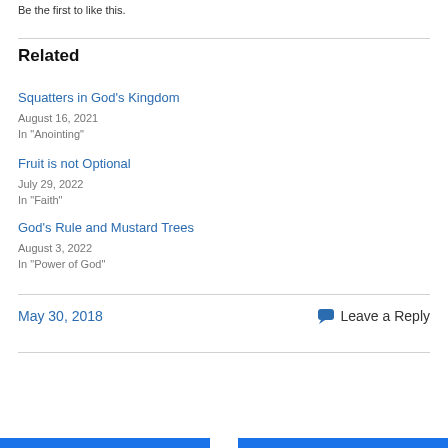Be the first to like this.
Related
Squatters in God’s Kingdom
August 16, 2021
In “Anointing”
Fruit is not Optional
July 29, 2022
In “Faith”
God’s Rule and Mustard Trees
August 3, 2022
In “Power of God”
May 30, 2018
Leave a Reply